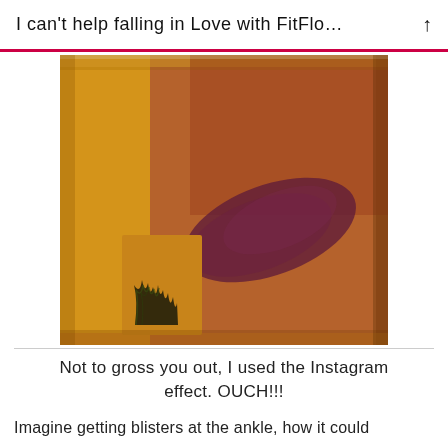I can't help falling in Love with FitFlo…
[Figure (photo): Close-up photo of a bruised ankle/skin with a large dark purple-red bruise mark, filtered with an Instagram warm vintage effect. A tattoo with flame/wave pattern is visible on the lower left side of the image.]
Not to gross you out, I used the Instagram effect. OUCH!!!
Imagine getting blisters at the ankle, how it could